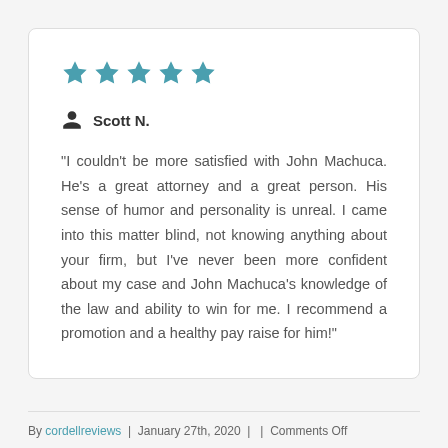[Figure (infographic): Five teal/blue star rating icons representing a 5-star review]
Scott N.
"I couldn't be more satisfied with John Machuca. He's a great attorney and a great person. His sense of humor and personality is unreal. I came into this matter blind, not knowing anything about your firm, but I've never been more confident about my case and John Machuca's knowledge of the law and ability to win for me. I recommend a promotion and a healthy pay raise for him!"
By cordellreviews | January 27th, 2020 |  | Comments Off